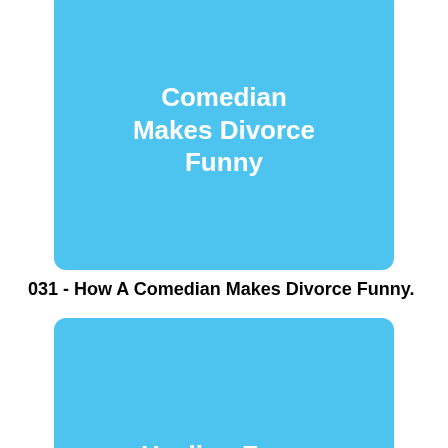[Figure (illustration): Blue rounded rectangle card with white bold text reading 'Comedian Makes Divorce Funny' (partial top cut off)]
031 - How A Comedian Makes Divorce Funny.
[Figure (illustration): Blue rounded rectangle card with white bold text reading 'Healing From The Trauma Of Your Divorce']
032 - Healing From The Trauma Of Your Divorce